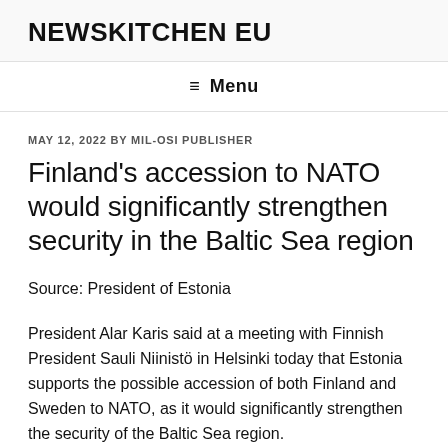NEWSKITCHEN EU
≡ Menu
MAY 12, 2022 BY MIL-OSI PUBLISHER
Finland's accession to NATO would significantly strengthen security in the Baltic Sea region
Source: President of Estonia
President Alar Karis said at a meeting with Finnish President Sauli Niinistö in Helsinki today that Estonia supports the possible accession of both Finland and Sweden to NATO, as it would significantly strengthen the security of the Baltic Sea region.